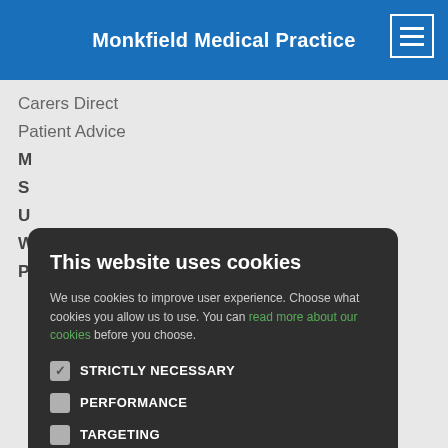Monkfield Medical Practice
Carers Direct
Patient Advice
This website uses cookies
We use cookies to improve user experience. Choose what cookies you allow us to use. You can read more about our cookies before you choose.
STRICTLY NECESSARY
PERFORMANCE
TARGETING
FUNCTIONALITY
ACCEPT ALL
DECLINE ALL